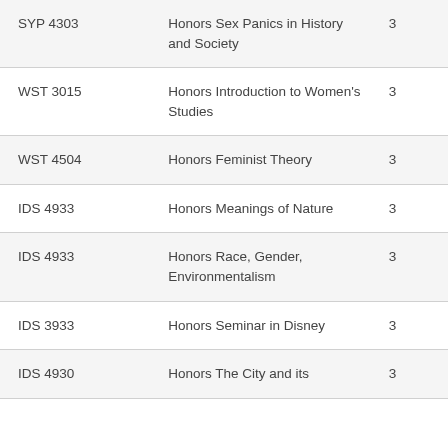| SYP 4303 | Honors Sex Panics in History and Society | 3 |
| WST 3015 | Honors Introduction to Women's Studies | 3 |
| WST 4504 | Honors Feminist Theory | 3 |
| IDS 4933 | Honors Meanings of Nature | 3 |
| IDS 4933 | Honors Race, Gender, Environmentalism | 3 |
| IDS 3933 | Honors Seminar in Disney | 3 |
| IDS 4930 | Honors The City and its | 3 |